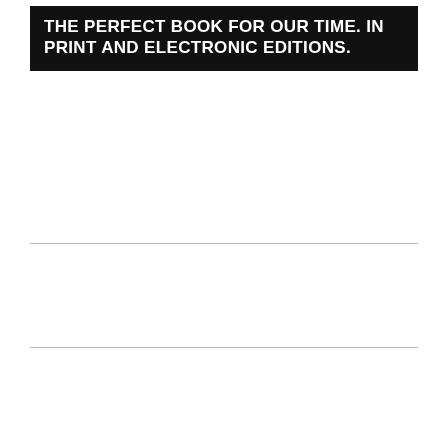THE PERFECT BOOK FOR OUR TIME. IN PRINT AND ELECTRONIC EDITIONS.